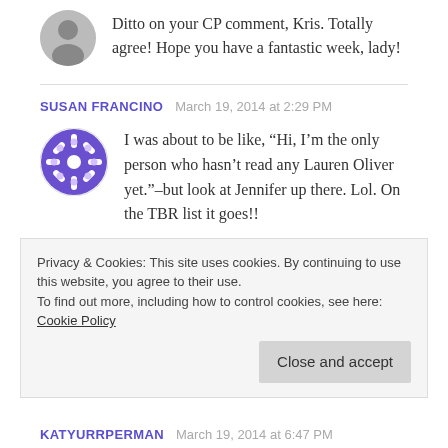Ditto on your CP comment, Kris. Totally agree! Hope you have a fantastic week, lady!
SUSAN FRANCINO  March 19, 2014 at 2:29 PM
I was about to be like, “Hi, I’m the only person who hasn’t read any Lauren Oliver yet.”–but look at Jennifer up there. Lol. On the TBR list it goes!!
Disney sounds so good right about now! Especially a somewhat spur-of-the-moment trip,
Privacy & Cookies: This site uses cookies. By continuing to use this website, you agree to their use. To find out more, including how to control cookies, see here: Cookie Policy
Close and accept
KATYURRPERMAN  March 19, 2014 at 6:47 PM